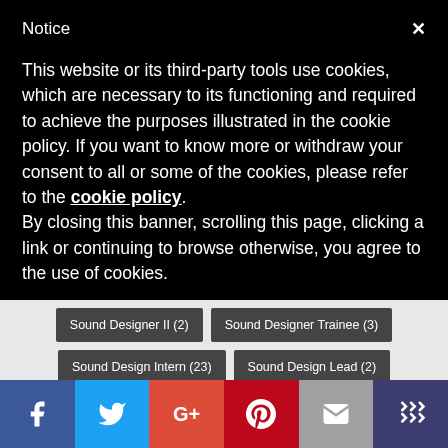Notice
This website or its third-party tools use cookies, which are necessary to its functioning and required to achieve the purposes illustrated in the cookie policy. If you want to know more or withdraw your consent to all or some of the cookies, please refer to the cookie policy.
By closing this banner, scrolling this page, clicking a link or continuing to browse otherwise, you agree to the use of cookies.
Sound Designer II (2)
Sound Designer Trainee (3)
Sound Design Intern (23)
Sound Design Lead (2)
Sound Design Manager (7)
Sound Editor (9)
Sound Effect Artist (4)
Sound Engineer (25)